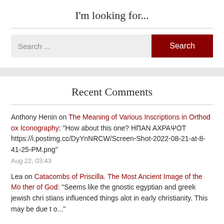I'm looking for...
Search ...
Search
Recent Comments
Anthony Henin on The Meaning of Various Inscriptions in Orthodox Iconography: "How about this one? ΗΠΑΝ ΑΧΡΑΨΟΤ https://i.postimg.cc/DyYnNRCW/Screen-Shot-2022-08-21-at-8-41-25-PM.png"
Aug 22, 03:43
Lea on Catacombs of Priscilla. The Most Ancient Image of the Mother of God: "Seems like the gnostic egyptian and greek jewish christians influenced things alot in early christianity. This may be due to..."